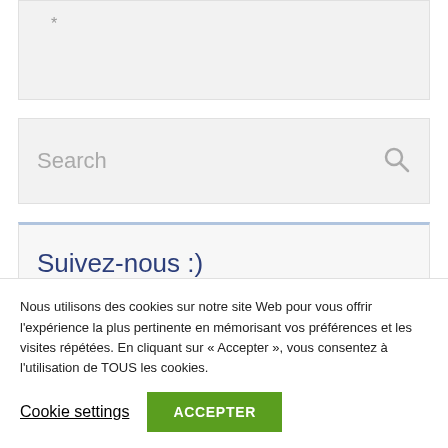[Figure (screenshot): Gray text input box with an asterisk placeholder character in the upper left]
[Figure (screenshot): Search input box with 'Search' placeholder text and a magnifying glass icon on the right]
Suivez-nous :)
Nous utilisons des cookies sur notre site Web pour vous offrir l'expérience la plus pertinente en mémorisant vos préférences et les visites répétées. En cliquant sur «Accepter», vous consentez à l'utilisation de TOUS les cookies.
Cookie settings
ACCEPTER